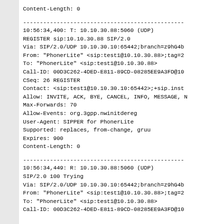Content-Length: 0
------------------------------------------------
10:56:34,400: T: 10.10.30.88:5060 (UDP)
REGISTER sip:10.10.30.88 SIP/2.0
Via: SIP/2.0/UDP 10.10.30.10:65442;branch=z9hG4b
From: "PhonerLite" <sip:test1@10.10.30.88>;tag=2
To: "PhonerLite" <sip:test1@10.10.30.88>
Call-ID: 00D3C262-4DED-E811-89CD-08285EE9A3FD@10
CSeq: 26 REGISTER
Contact: <sip:test1@10.10.30.10:65442>;+sip.inst
Allow: INVITE, ACK, BYE, CANCEL, INFO, MESSAGE, N
Max-Forwards: 70
Allow-Events: org.3gpp.nwinitdereg
User-Agent: SIPPER for PhonerLite
Supported: replaces, from-change, gruu
Expires: 900
Content-Length: 0
------------------------------------------------
10:56:34,449: R: 10.10.30.88:5060 (UDP)
SIP/2.0 100 Trying
Via: SIP/2.0/UDP 10.10.30.10:65442;branch=z9hG4b
From: "PhonerLite" <sip:test1@10.10.30.88>;tag=2
To: "PhonerLite" <sip:test1@10.10.30.88>
Call-ID: 00D3C262-4DED-E811-89CD-08285EE9A3FD@10